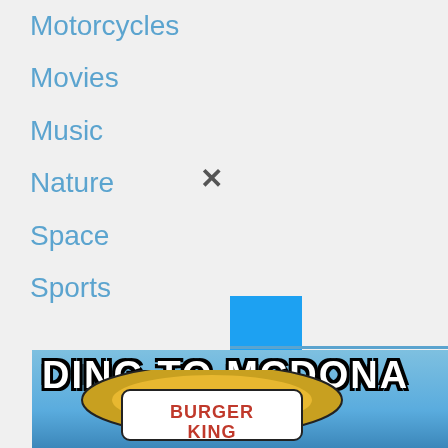Motorcycles
Movies
Music
Nature
Space
Sports
[Figure (screenshot): Facebook Follow widget showing 193 followers with a blue Follow button]
[Figure (screenshot): Twitter Follow button in blue with bird icon]
[Figure (photo): Meme image showing text 'DING TO MCDONA' over a Burger King sign photographed against a blue sky]